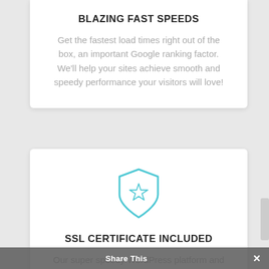BLAZING FAST SPEEDS
Get the fastest load times right out of the box, an important Google ranking factor. We'll help your sites achieve smooth and speedy performance your visitors will love!
[Figure (illustration): Shield icon with a star inside, drawn in teal/cyan outline style]
SSL CERTIFICATE INCLUDED
Our super speedy WordPress platform and free Let's Encrypt™ SSL certificates work together to give your site a boost in both SEO and website security
Share This ×